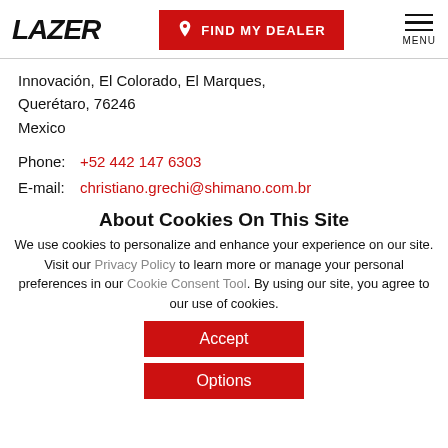LAZER | FIND MY DEALER | MENU
Innovación, El Colorado, El Marques, Querétaro, 76246
Mexico
Phone: +52 442 147 6303
E-mail: christiano.grechi@shimano.com.br
About Cookies On This Site
We use cookies to personalize and enhance your experience on our site. Visit our Privacy Policy to learn more or manage your personal preferences in our Cookie Consent Tool. By using our site, you agree to our use of cookies.
Accept
Options